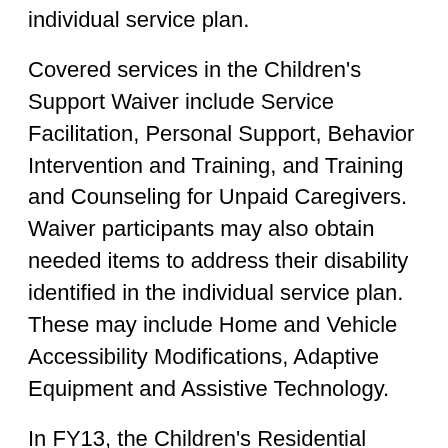individual service plan.
Covered services in the Children's Support Waiver include Service Facilitation, Personal Support, Behavior Intervention and Training, and Training and Counseling for Unpaid Caregivers. Waiver participants may also obtain needed items to address their disability identified in the individual service plan. These may include Home and Vehicle Accessibility Modifications, Adaptive Equipment and Assistive Technology.
In FY13, the Children's Residential Waiver (CRW) is authorized to serve up to 280 children, adolescents and young adults through the age of 21 in small community-based group homes serving ten or fewer children. Child Group Homes are licensed by the Department of Children and Family Services. the children residential...